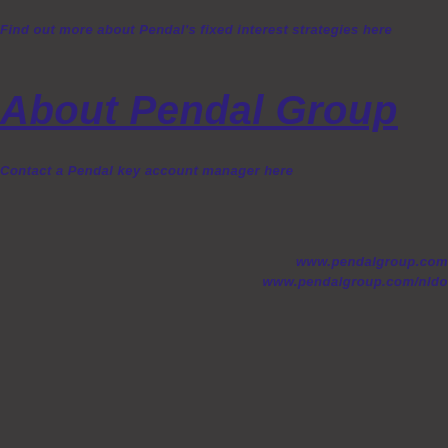Find out more about Pendal's fixed interest strategies here
About Pendal Group
Contact a Pendal key account manager here
www.pendalgroup.com
www.pendalgroup.com/nldo